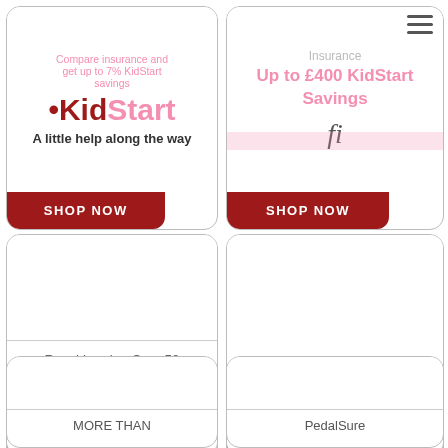[Figure (logo): KidStart logo card with tagline 'A little help along the way', compare insurance text, and SHOP NOW button]
[Figure (screenshot): Insurance card showing 'Up to £400 KidStart Savings' with fi symbol and hamburger menu, and SHOP NOW button]
[Figure (screenshot): Royal London Over 50 Life Insurance card showing 'Up to £217 KidStart Savings' and SHOP NOW button]
[Figure (screenshot): Hiscox card showing '£50 KidStart Savings' and SHOP NOW button]
[Figure (screenshot): MORE THAN partial card (bottom left)]
[Figure (screenshot): PedalSure partial card (bottom right)]